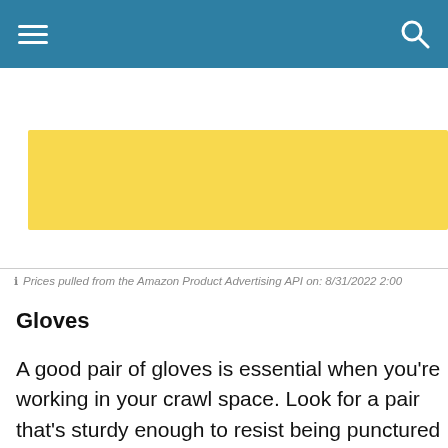[Figure (other): Yellow advertisement banner on white background]
Prices pulled from the Amazon Product Advertising API on: 8/31/2022 2:00
Gloves
A good pair of gloves is essential when you're working in your crawl space. Look for a pair that's sturdy enough to resist being punctured by nails, but not so clunky that you aren't able to work with your hands